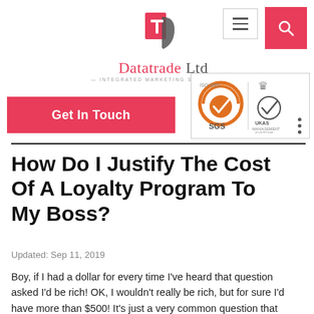[Figure (logo): Datatrade Ltd logo with red and grey icon, company name in red/grey serif font, tagline 'INTEGRATED MARKETING SOLUTIONS']
[Figure (logo): SGS and UKAS Management Systems certification badges]
[Figure (other): Hamburger menu button (three horizontal lines) in a bordered box]
[Figure (other): Pink/red search button with magnifying glass icon]
[Figure (other): Pink/red 'Get In Touch' button]
How Do I Justify The Cost Of A Loyalty Program To My Boss?
Updated: Sep 11, 2019
Boy, if I had a dollar for every time I've heard that question asked I'd be rich! OK, I wouldn't really be rich, but for sure I'd have more than $500! It's just a very common question that seems to be on